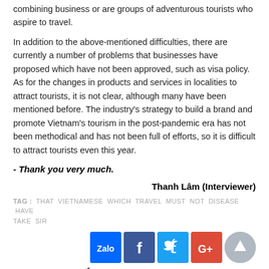combining business or are groups of adventurous tourists who aspire to travel.
In addition to the above-mentioned difficulties, there are currently a number of problems that businesses have proposed which have not been approved, such as visa policy. As for the changes in products and services in localities to attract tourists, it is not clear, although many have been mentioned before. The industry's strategy to build a brand and promote Vietnam's tourism in the post-pandemic era has not been methodical and has not been full of efforts, so it is difficult to attract tourists even this year.
- Thank you very much.
Thanh Lâm (Interviewer)
TAG :  THAT VIETNAMESE WHICH TRAVEL MUST NOT DISEASE HAVE TAKE SIR
[Figure (other): Social media share buttons: Zalo, Facebook, Twitter, Google+, and a scroll-to-top button]
Các tin, bài viết khác